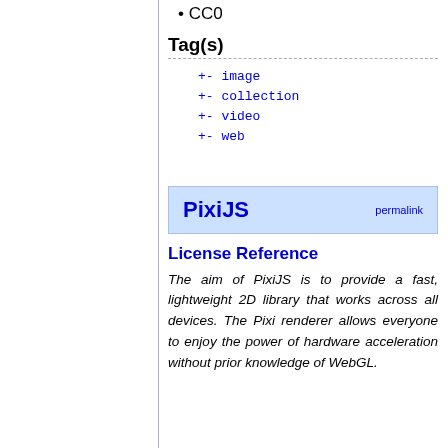CC0
Tag(s)
+- image
+- collection
+- video
+- web
PixiJS
License Reference
The aim of PixiJS is to provide a fast, lightweight 2D library that works across all devices. The Pixi renderer allows everyone to enjoy the power of hardware acceleration without prior knowledge of WebGL.